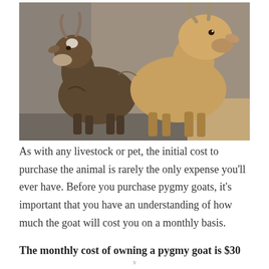[Figure (photo): Two baby pygmy goats standing close together near a concrete wall. One is darker brown with a white patch on its forehead, the other is lighter tan/golden. Both have small horns.]
As with any livestock or pet, the initial cost to purchase the animal is rarely the only expense you'll ever have. Before you purchase pygmy goats, it's important that you have an understanding of how much the goat will cost you on a monthly basis.
The monthly cost of owning a pygmy goat is $30